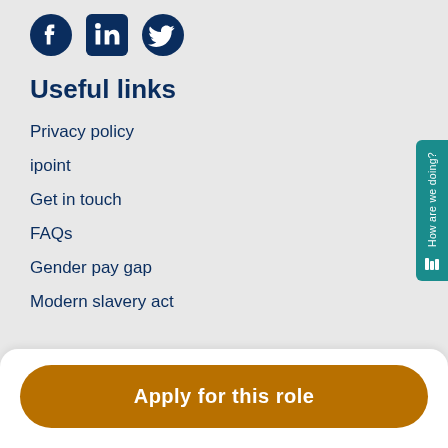[Figure (illustration): Social media icons: Facebook, LinkedIn, Twitter in dark blue]
Useful links
Privacy policy
ipoint
Get in touch
FAQs
Gender pay gap
Modern slavery act
Apply for this role